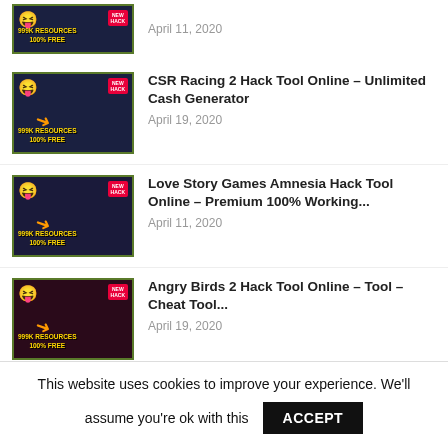April 11, 2020
CSR Racing 2 Hack Tool Online – Unlimited Cash Generator
April 19, 2020
Love Story Games Amnesia Hack Tool Online – Premium 100% Working...
April 11, 2020
Angry Birds 2 Hack Tool Online – Tool – Cheat Tool...
April 19, 2020
Royal Revolt 2 Hack Tool Online – Find How
This website uses cookies to improve your experience. We'll assume you're ok with this   ACCEPT